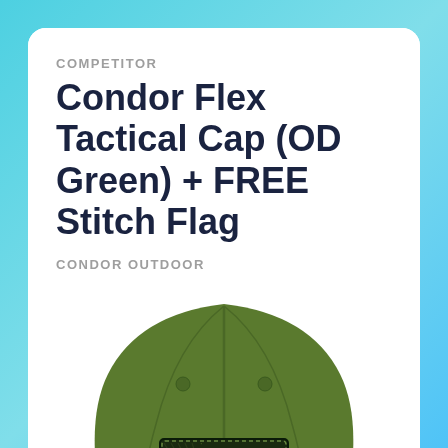COMPETITOR
Condor Flex Tactical Cap (OD Green) + FREE Stitch Flag
CONDOR OUTDOOR
[Figure (photo): Back view of an olive drab (OD Green) tactical flex cap with a dark embroidered American flag patch on the back panel.]